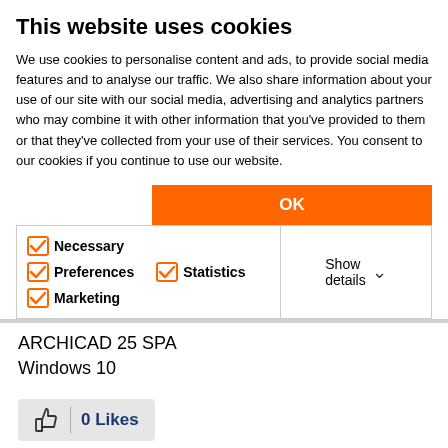This website uses cookies
We use cookies to personalise content and ads, to provide social media features and to analyse our traffic. We also share information about your use of our site with our social media, advertising and analytics partners who may combine it with other information that you've provided to them or that they've collected from your use of their services. You consent to our cookies if you continue to use our website.
OK
Necessary  Preferences  Statistics  Marketing  Show details
ARCHICAD 25 SPA
Windows 10
0 Likes
Share
Reply